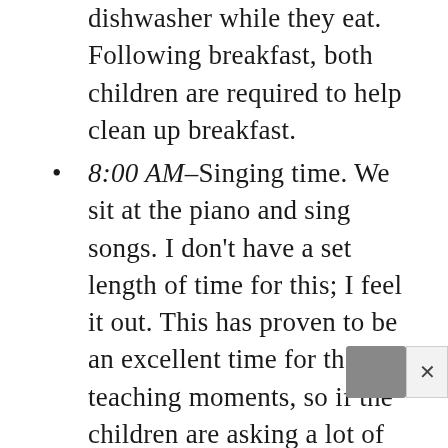dishwasher while they eat. Following breakfast, both children are required to help clean up breakfast.
8:00 AM–Singing time. We sit at the piano and sing songs. I don't have a set length of time for this; I feel it out. This has proven to be an excellent time for those teaching moments, so if the children are asking a lot of questions, I let it go longer. If they aren't that interested, I cut it shorter. I let each child choose at least one song and I also choose one song to sing.